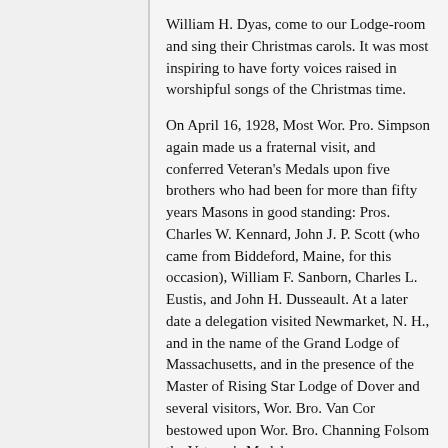William H. Dyas, come to our Lodge-room and sing their Christmas carols. It was most inspiring to have forty voices raised in worshipful songs of the Christmas time.
On April 16, 1928, Most Wor. Pro. Simpson again made us a fraternal visit, and conferred Veteran's Medals upon five brothers who had been for more than fifty years Masons in good standing: Pros. Charles W. Kennard, John J. P. Scott (who came from Biddeford, Maine, for this occasion), William F. Sanborn, Charles L. Eustis, and John H. Dusseault. At a later date a delegation visited Newmarket, N. H., and in the name of the Grand Lodge of Massachusetts, and in the presence of the Master of Rising Star Lodge of Dover and several visitors, Wor. Bro. Van Cor bestowed upon Wor. Bro. Channing Folsom the Veteran's Medal.
On May 21, 1928, the Master announced that the Great Reaper had garnered in one of our most cherished Past Masters — Wor. Bro. Charles E. Cole. The quartette, some of whom were very close to Wor. Bro. Cole, sang the